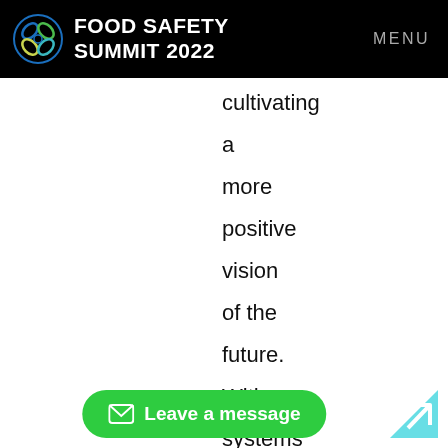FOOD SAFETY SUMMIT 2022  MENU
cultivating
a
more
positive
vision
of the
future.
With
systems
in
[Figure (other): Green 'Leave a message' CTA button with envelope icon, and a cyan/teal arrow icon at bottom right corner]